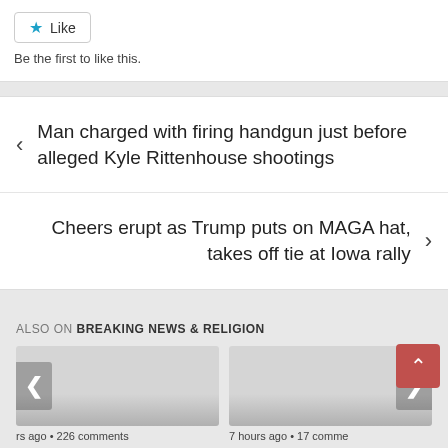Like
Be the first to like this.
< Man charged with firing handgun just before alleged Kyle Rittenhouse shootings
Cheers erupt as Trump puts on MAGA hat, takes off tie at Iowa rally >
ALSO ON BREAKING NEWS & RELIGION
rs ago • 226 comments
7 hours ago • 17 comme